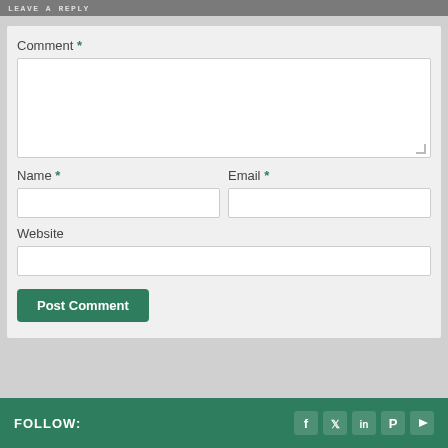LEAVE A REPLY
Comment *
Name *
Email *
Website
Post Comment
FOLLOW: